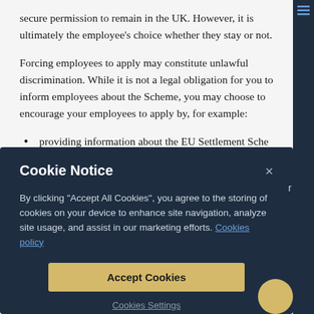secure permission to remain in the UK. However, it is ultimately the employee's choice whether they stay or not.
Forcing employees to apply may constitute unlawful discrimination. While it is not a legal obligation for you to inform employees about the Scheme, you may choose to encourage your employees to apply by, for example:
providing information about the EU Settlement Sche...
[Figure (screenshot): Cookie Notice modal dialog with dark navy background. Contains title 'Cookie Notice' with a close X button, body text explaining cookie usage with a 'Cookies policy' link, an 'Accept Cookies' button in gold/yellow, and a 'Cookies Settings' link.]